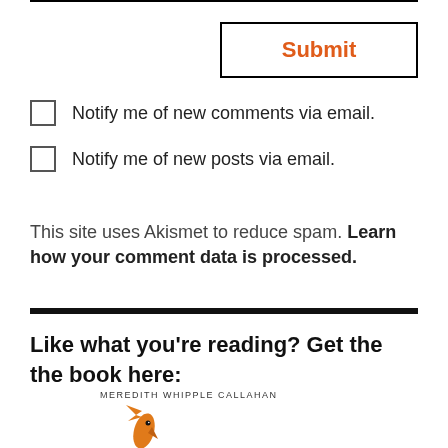Submit
Notify me of new comments via email.
Notify me of new posts via email.
This site uses Akismet to reduce spam. Learn how your comment data is processed.
Like what you're reading? Get the the book here:
[Figure (illustration): Book cover showing author name MEREDITH WHIPPLE CALLAHAN, an orange/gold fish icon, and the word THE at the bottom]
MEREDITH WHIPPLE CALLAHAN THE